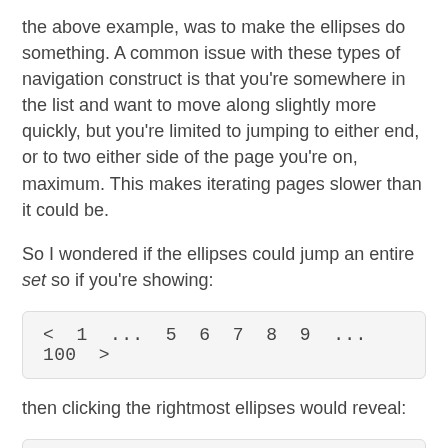the above example, was to make the ellipses do something. A common issue with these types of navigation construct is that you're somewhere in the list and want to move along slightly more quickly, but you're limited to jumping to either end, or to two either side of the page you're on, maximum. This makes iterating pages slower than it could be.
So I wondered if the ellipses could jump an entire set so if you're showing:
[Figure (screenshot): Pagination control showing: < 1 ... 5 6 7 8 9 ... 100 >]
then clicking the rightmost ellipses would reveal:
[Figure (screenshot): Pagination control showing: < 1 ... 10 11 12 13 14 ... 100 >]